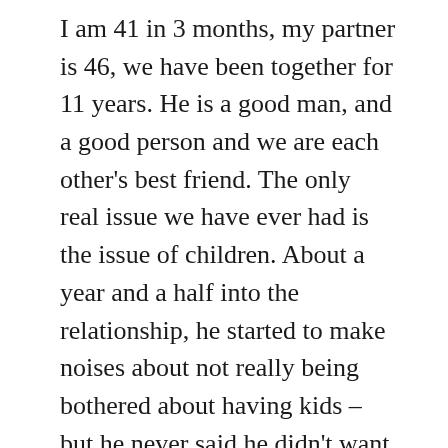I am 41 in 3 months, my partner is 46, we have been together for 11 years. He is a good man, and a good person and we are each other's best friend. The only real issue we have ever had is the issue of children. About a year and a half into the relationship, he started to make noises about not really being bothered about having kids – but he never said he didn't want them, so I imagined it was something that would pass. I made it clear I really wanted children. Then, maybe a year later again, he started to say he did not want kids at all, and that was the state of play for about 7 years. Every now and then, it would come up and escalate into an argument, often ending with me threatening to walk if